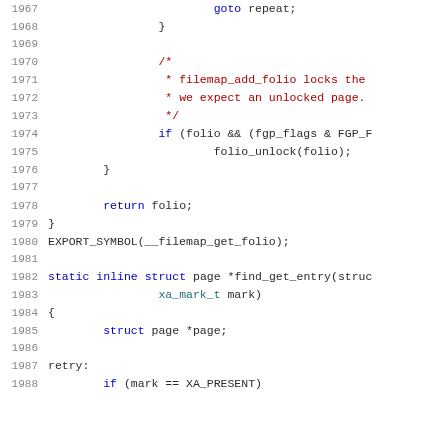Source code listing, lines 1967-1988, C kernel code for filemap_get_folio and find_get_entry functions